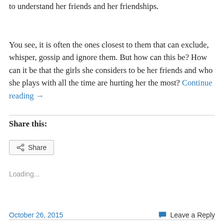to understand her friends and her friendships.

You see, it is often the ones closest to them that can exclude, whisper, gossip and ignore them. But how can this be? How can it be that the girls she considers to be her friends and who she plays with all the time are hurting her the most? Continue reading →
Share this:
[Figure (other): Share button with share icon]
Loading...
October 26, 2015    Leave a Reply